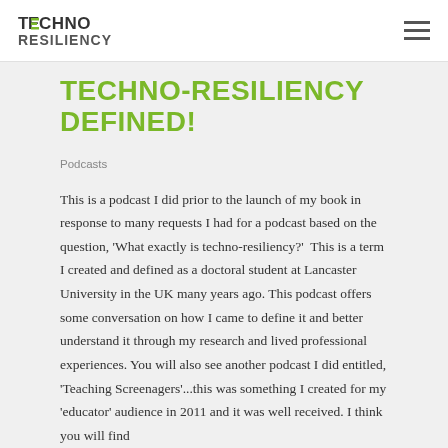TECHNO RESILIENCY
TECHNO-RESILIENCY DEFINED!
Podcasts
This is a podcast I did prior to the launch of my book in response to many requests I had for a podcast based on the question, 'What exactly is techno-resiliency?'  This is a term I created and defined as a doctoral student at Lancaster University in the UK many years ago. This podcast offers some conversation on how I came to define it and better understand it through my research and lived professional experiences. You will also see another podcast I did entitled, 'Teaching Screenagers'...this was something I created for my 'educator' audience in 2011 and it was well received. I think you will find